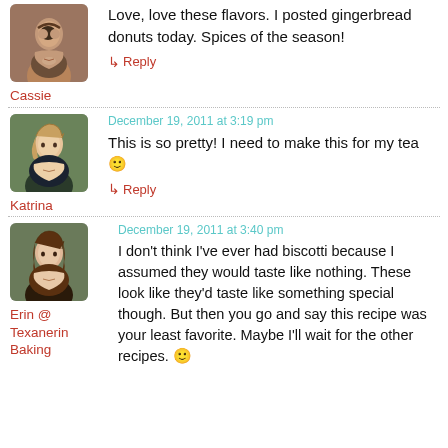[Figure (photo): Profile photo of Cassie, a woman with dark hair smiling]
Cassie
Love, love these flavors. I posted gingerbread donuts today. Spices of the season!
↳ Reply
[Figure (photo): Profile photo of Katrina, a blonde woman smiling outdoors]
Katrina
December 19, 2011 at 3:19 pm
This is so pretty! I need to make this for my tea 🙂
↳ Reply
[Figure (photo): Profile photo of Erin, a young woman with long brown hair]
Erin @ Texanerin Baking
December 19, 2011 at 3:40 pm
I don't think I've ever had biscotti because I assumed they would taste like nothing. These look like they'd taste like something special though. But then you go and say this recipe was your least favorite. Maybe I'll wait for the other recipes. 🙂